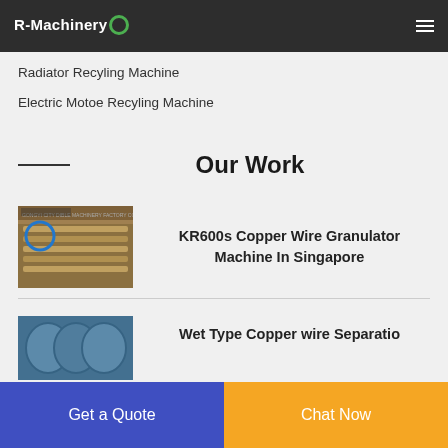R-Machinery
Radiator Recyling Machine
Electric Motoe Recyling Machine
Our Work
[Figure (photo): Photo of a copper wire granulator machine in a factory setting, showing industrial equipment with metal components]
KR600s Copper Wire Granulator Machine In Singapore
[Figure (photo): Partial photo of another machine installation, partially visible at bottom of page]
Get a Quote
Chat Now